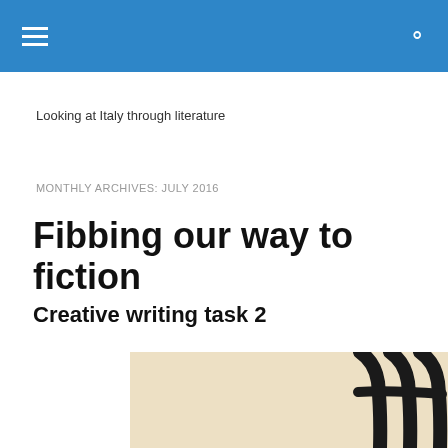Looking at Italy through literature
MONTHLY ARCHIVES: JULY 2016
Fibbing our way to fiction
Creative writing task 2
[Figure (photo): A close-up photo of a dark metal chair back/frame against a light beige background]